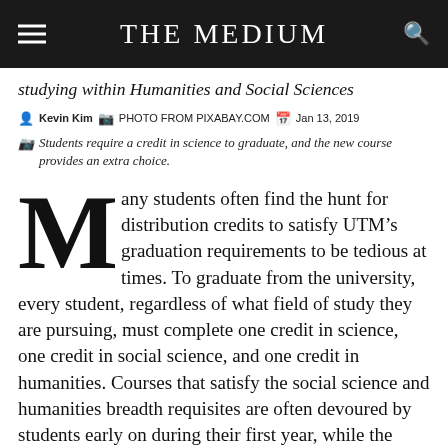THE MEDIUM
studying within Humanities and Social Sciences
Kevin Kim  PHOTO FROM PIXABAY.COM  Jan 13, 2019
Students require a credit in science to graduate, and the new course provides an extra choice.
Many students often find the hunt for distribution credits to satisfy UTM’s graduation requirements to be tedious at times. To graduate from the university, every student, regardless of what field of study they are pursuing, must complete one credit in science, one credit in social science, and one credit in humanities. Courses that satisfy the social science and humanities breadth requisites are often devoured by students early on during their first year, while the science credit is seen as a struggle to complete.